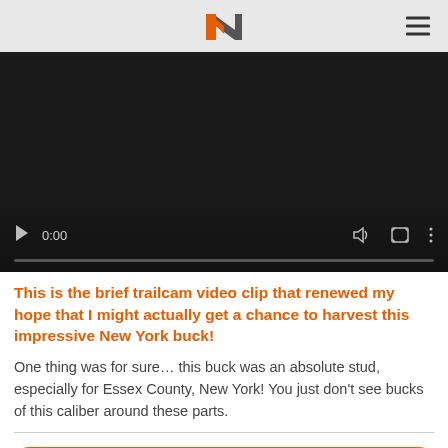N (logo) | navigation menu
[Figure (screenshot): Embedded video player with dark background, showing 0:00 timestamp, play button, volume, fullscreen, and more options icons, with a progress bar at the bottom.]
This is the brief trailcam video clip that renewed my hope that I might actually get a chance to harvest this impressive New York buck!
One thing was for sure… this buck was an absolute stud, especially for Essex County, New York! You just don't see bucks of this caliber around these parts.